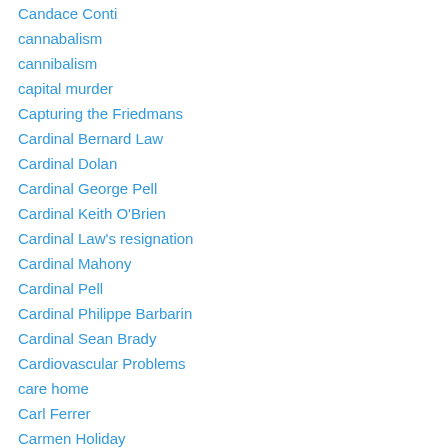Candace Conti
cannabalism
cannibalism
capital murder
Capturing the Friedmans
Cardinal Bernard Law
Cardinal Dolan
Cardinal George Pell
Cardinal Keith O'Brien
Cardinal Law's resignation
Cardinal Mahony
Cardinal Pell
Cardinal Philippe Barbarin
Cardinal Sean Brady
Cardiovascular Problems
care home
Carl Ferrer
Carmen Holiday
Carolee Hickman
Casa Isla